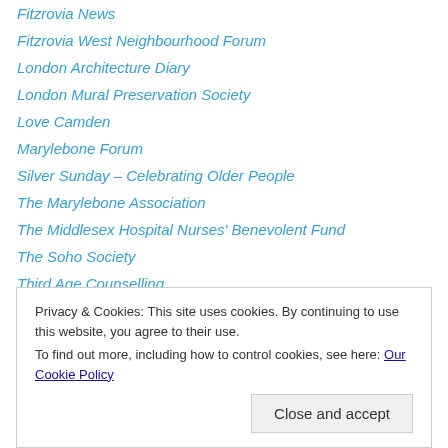Fitzrovia News
Fitzrovia West Neighbourhood Forum
London Architecture Diary
London Mural Preservation Society
Love Camden
Marylebone Forum
Silver Sunday – Celebrating Older People
The Marylebone Association
The Middlesex Hospital Nurses' Benevolent Fund
The Soho Society
Third Age Counselling
Voluntary Action Camden
Voluntary Action Westminster
Privacy & Cookies: This site uses cookies. By continuing to use this website, you agree to their use. To find out more, including how to control cookies, see here: Our Cookie Policy
Close and accept
Website Powered by WordPress.com.